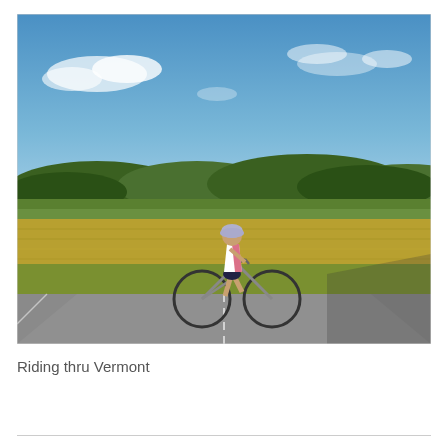[Figure (photo): A cyclist standing with a road bike on a rural road in Vermont. The cyclist wears a white and pink sleeveless jersey, black shorts, and a helmet. Behind them is a field of golden-green grasses and wildflowers, with green forested hills in the background under a bright blue sky with scattered clouds.]
Riding thru Vermont